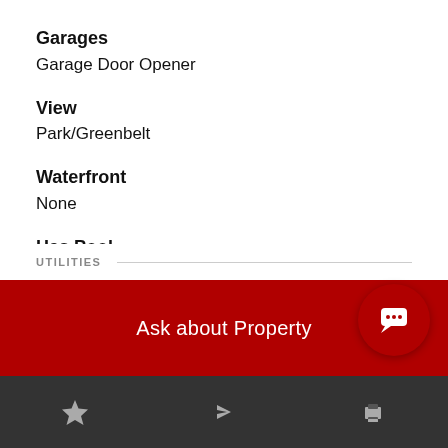Garages
Garage Door Opener
View
Park/Greenbelt
Waterfront
None
Has Pool
Yes
UTILITIES
Ask about Property
[Figure (other): Bottom navigation bar with star, share, and phone icons on dark background]